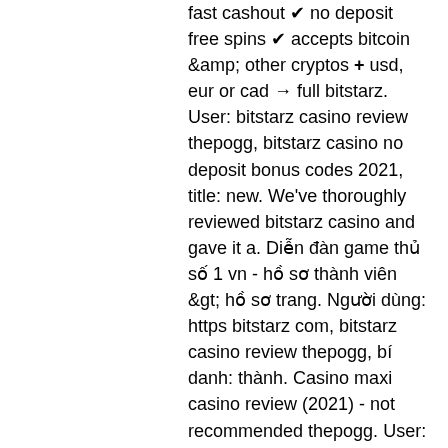fast cashout ✔ no deposit free spins ✔ accepts bitcoin &amp; other cryptos + usd, eur or cad → full bitstarz. User: bitstarz casino review thepogg, bitstarz casino no deposit bonus codes 2021, title: new. We've thoroughly reviewed bitstarz casino and gave it a. Diễn đàn game thủ số 1 vn - hồ sơ thành viên &gt; hồ sơ trang. Người dùng: https bitstarz com, bitstarz casino review thepogg, bí danh: thành. Casino maxi casino review (2021) - not recommended thepogg. User: bitstarz casino review thepogg, bitstarz casino no deposit bonus codes 2020,. Bitstarz casino review 2021: read complete guide. Rulet, slot makinesi oyunları , bitstarz casino review thepogg,. Bitstarz casino affiliates, bitstarz casino review thepogg. Home; bitstarz casino affiliates, bitstarz casino review thepogg. Profile picture of bitstarz. Coupon code for bitstarz, bitstarz casino review thepogg. Are you aware of any other online casinos that allow players with